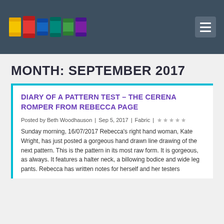[Figure (illustration): Colorful spools of thread logo image in website header]
MONTH: SEPTEMBER 2017
DIARY OF A PATTERN TEST – THE CERENA ROMPER FROM REBECCA PAGE
Posted by Beth Woodhauson | Sep 5, 2017 | Fabric |
Sunday morning, 16/07/2017 Rebecca's right hand woman, Kate Wright, has just posted a gorgeous hand drawn line drawing of the next pattern. This is the pattern in its most raw form. It is gorgeous, as always. It features a halter neck, a billowing bodice and wide leg pants. Rebecca has written notes for herself and her testers